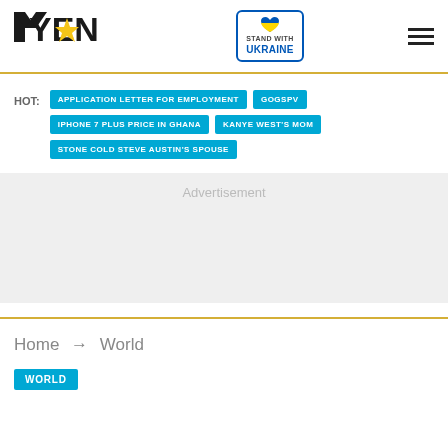YEN — Stand with Ukraine — Navigation
HOT: APPLICATION LETTER FOR EMPLOYMENT | GOGSPV | IPHONE 7 PLUS PRICE IN GHANA | KANYE WEST'S MOM | STONE COLD STEVE AUSTIN'S SPOUSE
[Figure (other): Advertisement placeholder]
Home → World
WORLD